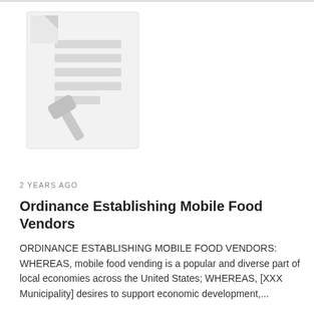[Figure (illustration): A document illustration icon showing a page with text lines and a gavel/mallet, rendered in light gray tones on a white background.]
2 YEARS AGO
Ordinance Establishing Mobile Food Vendors
ORDINANCE ESTABLISHING MOBILE FOOD VENDORS: WHEREAS, mobile food vending is a popular and diverse part of local economies across the United States; WHEREAS, [XXX Municipality] desires to support economic development,...